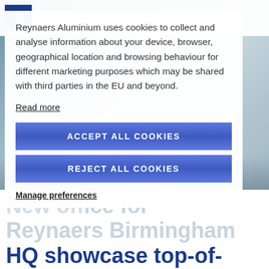[Figure (screenshot): Website screenshot of Reynaers Aluminium with cookie consent overlay dialog. Background shows aerial photo of a building/campus. Header shows Reynaers logo with blue R. Cookie notice contains text about data collection, two blue buttons (Accept All Cookies, Reject All Cookies), and a Manage preferences link. Below the overlay, large heading text reads 'New off... Reynaers Birmingham HQ showcase top-of-' is partially visible.]
Reynaers Aluminium uses cookies to collect and analyse information about your device, browser, geographical location and browsing behaviour for different marketing purposes which may be shared with third parties in the EU and beyond.
Read more
ACCEPT ALL COOKIES
REJECT ALL COOKIES
Manage preferences
New off... Reynaers Birmingham HQ showcase top-of-